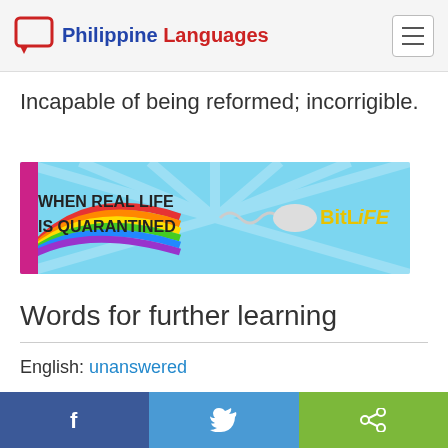Philippine Languages
Incapable of being reformed; incorrigible.
[Figure (photo): BitLife advertisement banner showing rainbow, masked emoji characters, and text 'WHEN REAL LIFE IS QUARANTINED - BitLife']
Words for further learning
English: unanswered
English: scale
Facebook | Twitter | Share